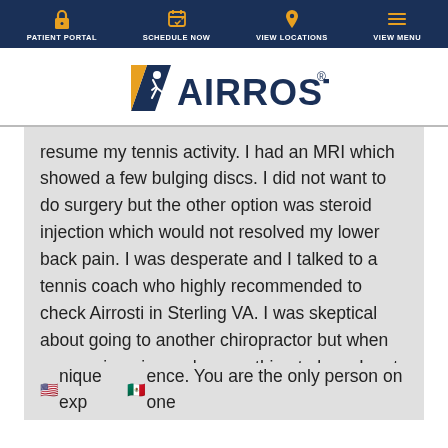PATIENT PORTAL | SCHEDULE NOW | VIEW LOCATIONS | VIEW MENU
[Figure (logo): Airrosti logo with stylized A and running figure icon]
resume my tennis activity. I had an MRI which showed a few bulging discs. I did not want to do surgery but the other option was steroid injection which would not resolved my lower back pain. I was desperate and I talked to a tennis coach who highly recommended to check Airrosti in Sterling VA. I was skeptical about going to another chiropractor but when you are in pain you have nothing to lose. I met with Dr. Josiah Ryabinov. The first session was about an 1hour. It is very a unique experience. You are the only person on one